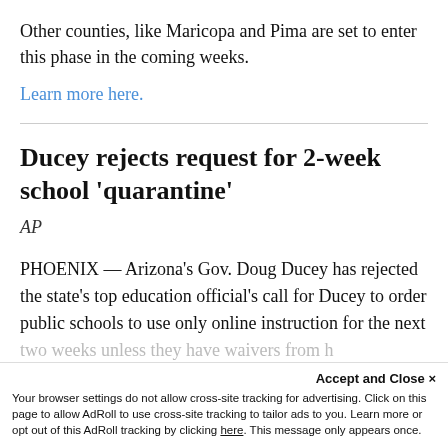Other counties, like Maricopa and Pima are set to enter this phase in the coming weeks.
Learn more here.
Ducey rejects request for 2-week school 'quarantine'
AP
PHOENIX — Arizona's Gov. Doug Ducey has rejected the state's top education official's call for Ducey to order public schools to use only online instruction for the next two weeks unless they have waivers from h...
Accept and Close ✕
Your browser settings do not allow cross-site tracking for advertising. Click on this page to allow AdRoll to use cross-site tracking to tailor ads to you. Learn more or opt out of this AdRoll tracking by clicking here. This message only appears once.